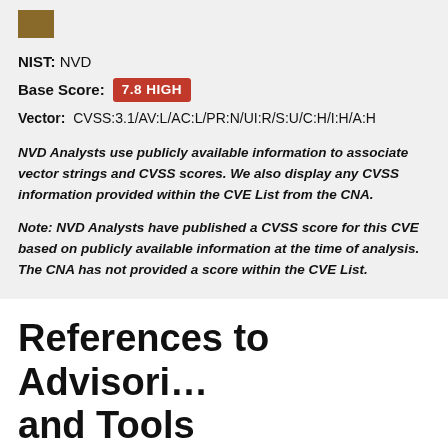NIST: NVD
Base Score: 7.8 HIGH
Vector: CVSS:3.1/AV:L/AC:L/PR:N/UI:R/S:U/C:H/I:H/A:H
NVD Analysts use publicly available information to associate vector strings and CVSS scores. We also display any CVSS information provided within the CVE List from the CNA.
Note: NVD Analysts have published a CVSS score for this CVE based on publicly available information at the time of analysis. The CNA has not provided a score within the CVE List.
References to Advisories, Solutions and Tools